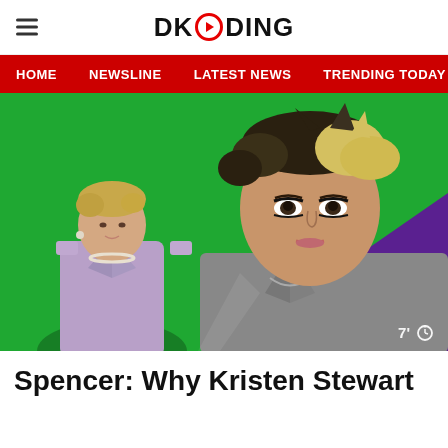DKODING
HOME | NEWSLINE | LATEST NEWS | TRENDING TODAY | ENT
[Figure (photo): Hero image showing Princess Diana (left, in lilac suit with pearl necklace) and Kristen Stewart (right, with short blonde hair and dark eye makeup in grey blazer) against a green and purple background. Timer badge shows 7 minutes reading time.]
Spencer: Why Kristen Stewart